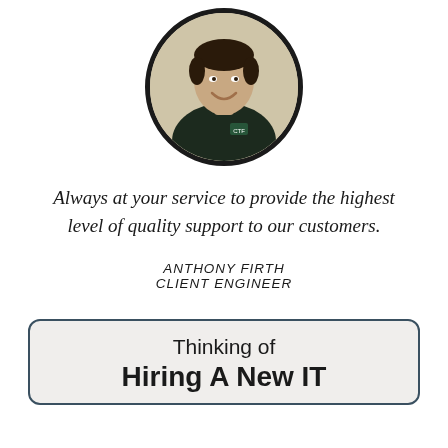[Figure (photo): Circular portrait photo of a man in a dark polo shirt with a company logo, smiling, against a light background. Framed with a thick dark circular border.]
Always at your service to provide the highest level of quality support to our customers.
ANTHONY FIRTH
CLIENT ENGINEER
Thinking of
Hiring A New IT